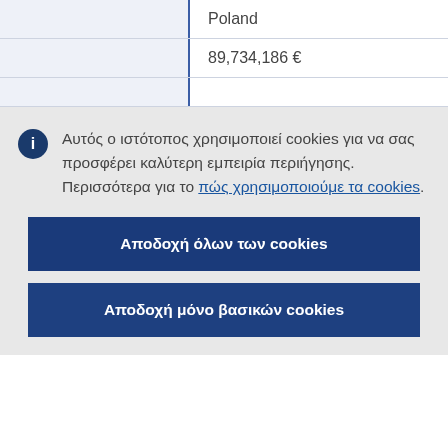|  | Poland |
|  | 89,734,186 € |
|  |  |
Αυτός ο ιστότοπος χρησιμοποιεί cookies για να σας προσφέρει καλύτερη εμπειρία περιήγησης. Περισσότερα για το πώς χρησιμοποιούμε τα cookies.
Αποδοχή όλων των cookies
Αποδοχή μόνο βασικών cookies